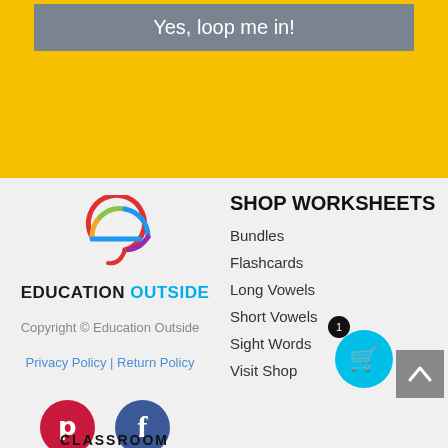Yes, loop me in!
[Figure (logo): Education Outside swirl logo with colorful 'e' shape and brand name 'EDUCATION OUTSIDE']
Copyright © Education Outside
Privacy Policy | Return Policy
SHOP WORKSHEETS
Bundles
Flashcards
Long Vowels
Short Vowels
Sight Words
Visit Shop
[Figure (logo): Pinterest red circle icon with P]
[Figure (logo): Facebook dark blue circle icon with f]
CLASSROOM